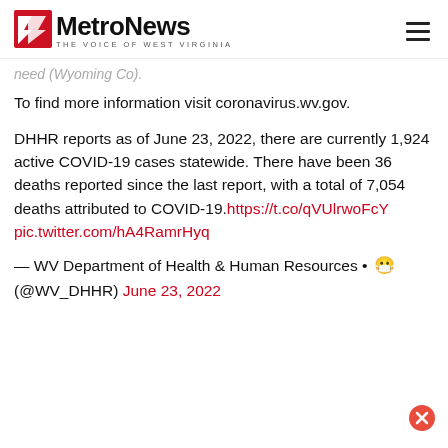MetroNews — THE VOICE OF WEST VIRGINIA
need (Wyoming Co).
To find more information visit coronavirus.wv.gov.
DHHR reports as of June 23, 2022, there are currently 1,924 active COVID-19 cases statewide. There have been 36 deaths reported since the last report, with a total of 7,054 deaths attributed to COVID-19. https://t.co/qVUlrwoFcY pic.twitter.com/hA4RamrHyq
— WV Department of Health & Human Resources • 😷 (@WV_DHHR) June 23, 2022